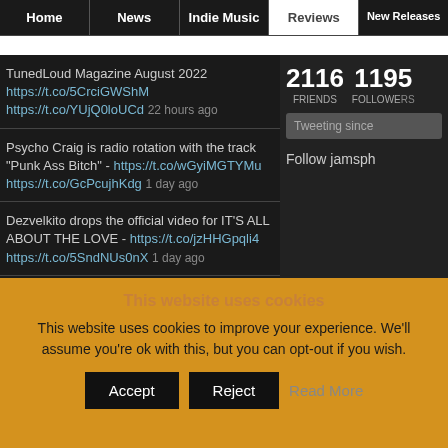Home | News | Indie Music | Reviews | New Releases
TunedLoud Magazine August 2022
https://t.co/5CrciGWShM
https://t.co/YUjQ0loUCd 22 hours ago
Psycho Craig is radio rotation with the track "Punk Ass Bitch" - https://t.co/wGyiMGTYMu
https://t.co/GcPcujhKdg 1 day ago
Dezvelkito drops the official video for IT'S ALL ABOUT THE LOVE - https://t.co/jzHHGpqli4
https://t.co/5SndNUs0nX 1 day ago
2116 FRIENDS
1195 FOLLOWERS
Tweeting since
Follow jamsph
This website uses cookies
This website uses cookies to improve your experience. We'll assume you're ok with this, but you can opt-out if you wish.
Accept | Reject | Read More